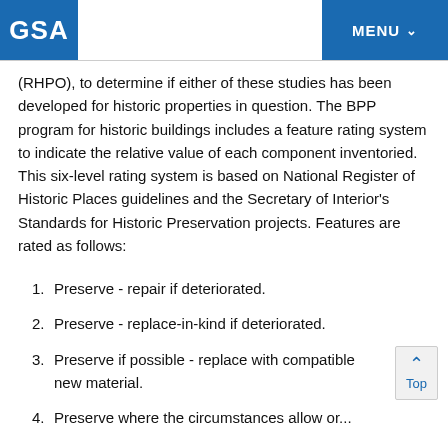GSA | MENU
(RHPO), to determine if either of these studies has been developed for historic properties in question. The BPP program for historic buildings includes a feature rating system to indicate the relative value of each component inventoried. This six-level rating system is based on National Register of Historic Places guidelines and the Secretary of Interior's Standards for Historic Preservation projects. Features are rated as follows:
1. Preserve - repair if deteriorated.
2. Preserve - replace-in-kind if deteriorated.
3. Preserve if possible - replace with compatible new material.
4. Preserve where the circumstances allow or...